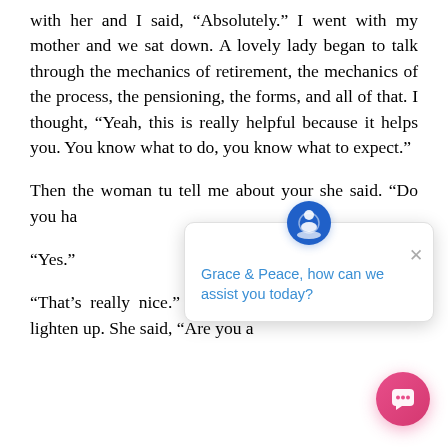with her and I said, “Absolutely.” I went with my mother and we sat down. A lovely lady began to talk through the mechanics of retirement, the mechanics of the process, the pensioning, the forms, and all of that. I thought, “Yeah, this is really helpful because it helps you. You know what to do, you know what to expect.”
Then the woman tu tell me about your she said. “Do you ha
“Yes.”
“That’s really nice.” Then, the woman sta to really lighten up. She said, “Are you a
[Figure (screenshot): A chat widget popup overlay showing a blue circular icon with a leaf/person emblem, an X close button, and the text 'Grace & Peace, how can we assist you today?' in blue. Below is a pink/magenta floating action button with a chat bubble icon.]